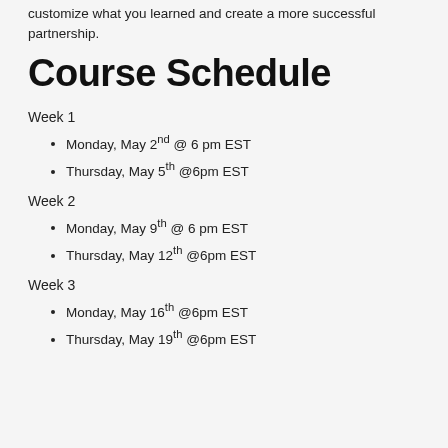customize what you learned and create a more successful partnership.
Course Schedule
Week 1
Monday, May 2nd @ 6 pm EST
Thursday, May 5th @6pm EST
Week 2
Monday, May 9th @ 6 pm EST
Thursday, May 12th @6pm EST
Week 3
Monday, May 16th @6pm EST
Thursday, May 19th @6pm EST